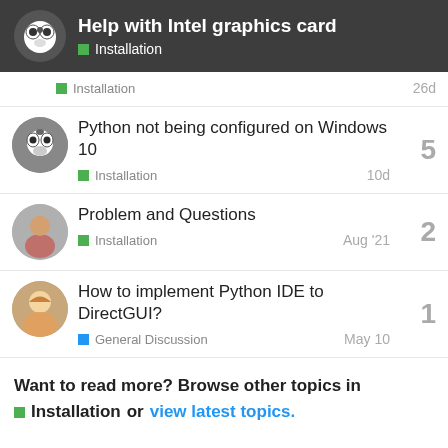Help with Intel graphics card — Installation
Installation — 26d
Python not being configured on Windows 10 — Installation — 10d — 5 replies
Problem and Questions — Installation — Aug '21 — 2 replies
How to implement Python IDE to DirectGUI? — General Discussion — May 10 — 1 reply
Want to read more? Browse other topics in Installation or view latest topics.